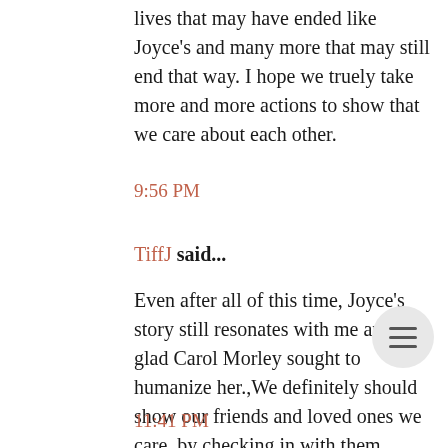...that was written in this story. There are many lives that may have ended like Joyce's and many more that may still end that way. I hope we truely take more and more actions to show that we care about each other.
9:56 PM
TiffJ said...
Even after all of this time, Joyce's story still resonates with me and I'm glad Carol Morley sought to humanize her.,We definitely should show our friends and loved ones we care, by checking in with them... even when they tend to drift away from us. Thanks so much for reading and commenting.
11:41 PM